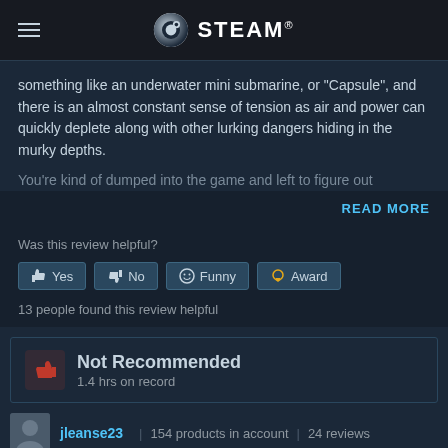STEAM
something like an underwater mini submarine, or "Capsule", and there is an almost constant sense of tension as air and power can quickly deplete along with other lurking dangers hiding in the murky depths.
You're kind of dumped into the game and left to figure out
READ MORE
Was this review helpful?
Yes  No  Funny  Award
13 people found this review helpful
Not Recommended
1.4 hrs on record
jleanse23  |  154 products in account  |  24 reviews